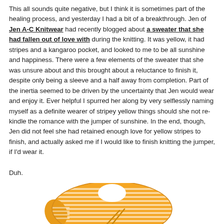This all sounds quite negative, but I think it is sometimes part of the healing process, and yesterday I had a bit of a breakthrough. Jen of Jen A-C Knitwear had recently blogged about a sweater that she had fallen out of love with during the knitting. It was yellow, it had stripes and a kangaroo pocket, and looked to me to be all sunshine and happiness. There were a few elements of the sweater that she was unsure about and this brought about a reluctance to finish it, despite only being a sleeve and a half away from completion. Part of the inertia seemed to be driven by the uncertainty that Jen would wear and enjoy it. Ever helpful I spurred her along by very selflessly naming myself as a definite wearer of stripey yellow things should she not re-kindle the romance with the jumper of sunshine. In the end, though, Jen did not feel she had retained enough love for yellow stripes to finish, and actually asked me if I would like to finish knitting the jumper, if I'd wear it.
Duh.
[Figure (photo): A yellow and white striped knitted sweater/jumper viewed from above, partially completed, with knitting needles visible at the bottom]